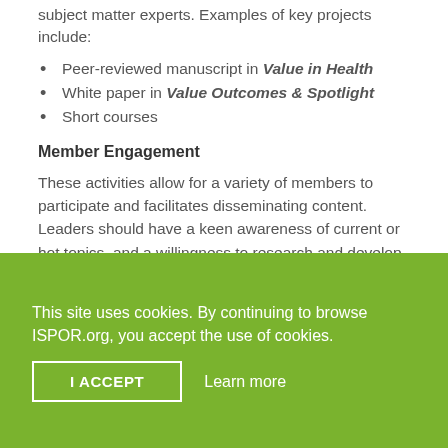subject matter experts. Examples of key projects include:
Peer-reviewed manuscript in Value in Health
White paper in Value Outcomes & Spotlight
Short courses
Member Engagement
These activities allow for a variety of members to participate and facilitates disseminating content. Leaders should have a keen awareness of current or hot topics, and a willingness to research and develop the specific topic, as well as reach out to other members and potential speakers.
This site uses cookies. By continuing to browse ISPOR.org, you accept the use of cookies.
I ACCEPT
Learn more